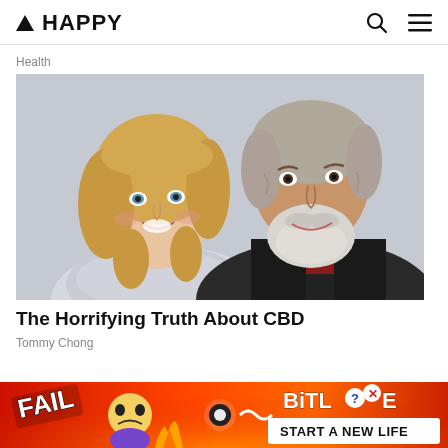▲ HAPPY
Health
[Figure (photo): A smiling blonde woman and an older bearded man with gray hair posing together for a photo.]
The Horrifying Truth About CBD
Tommy Chong
[Figure (screenshot): BitLife advertisement banner with red/orange flame background, FAIL text, animated cartoon character, and BitLife logo with 'START A NEW LIFE' tagline.]